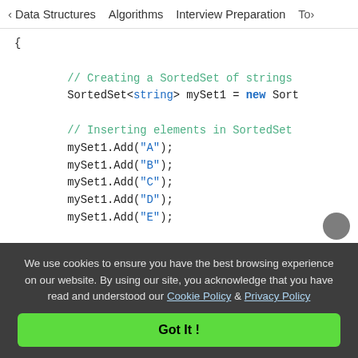< Data Structures   Algorithms   Interview Preparation   To>
{

        // Creating a SortedSet of strings
        SortedSet<string> mySet1 = new Sort

        // Inserting elements in SortedSet
        mySet1.Add("A");
        mySet1.Add("B");
        mySet1.Add("C");
        mySet1.Add("D");
        mySet1.Add("E");

        // Creating a SortedSet of strings
        SortedSet<string> mySet2 = new Sort
We use cookies to ensure you have the best browsing experience on our website. By using our site, you acknowledge that you have read and understood our Cookie Policy & Privacy Policy
Got It !